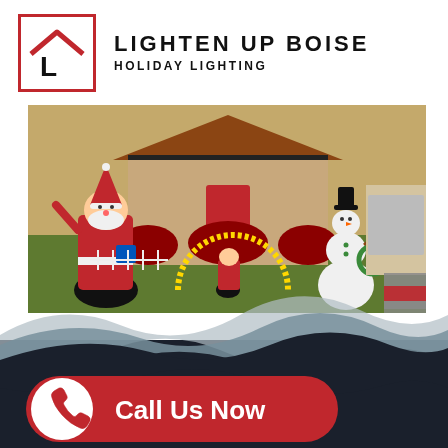[Figure (logo): Lighten Up Boise Holiday Lighting logo with red house/arrow icon and bold brand name]
[Figure (photo): Outdoor Christmas display with inflatable Santa, snowman, elf figure, lighted arch decoration on a green lawn in front of a decorated house]
[Figure (infographic): Wave design transitioning to dark navy background with a red pill-shaped 'Call Us Now' button featuring a white circle with red phone icon on the left]